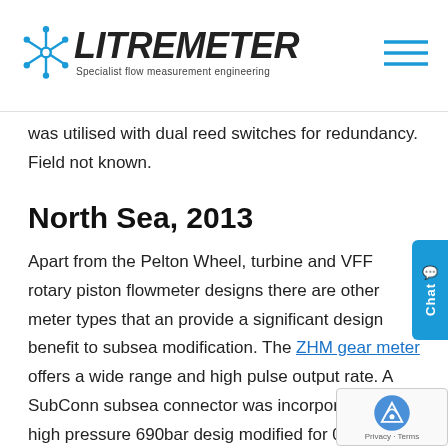LITREMETER - Specialist flow measurement engineering
was utilised with dual reed switches for redundancy. Field not known.
North Sea, 2013
Apart from the Pelton Wheel, turbine and VFF rotary piston flowmeter designs there are other meter types that an provide a significant design benefit to subsea modification. The ZHM gear meter offers a wide range and high pulse output rate. A SubConn subsea connector was incorporated and a high pressure 690bar desig modified for 0.3 to 6 litres per minute. The applicat was again chemical injection and 409 bar was the external